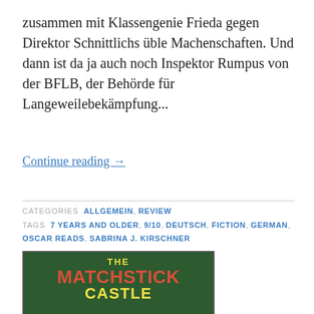zusammen mit Klassengenie Frieda gegen Direktor Schnittlichs üble Machenschaften. Und dann ist da ja auch noch Inspektor Rumpus von der BFLB, der Behörde für Langeweilebekämpfung...
Continue reading →
CATEGORIES ALLGEMEIN, REVIEW
TAGS 7 YEARS AND OLDER, 9/10, DEUTSCH, FICTION, GERMAN, OSCAR READS, SABRINA J. KIRSCHNER
[Figure (photo): Book cover of 'The Matchstick Castle' with red title text on a dark green background]